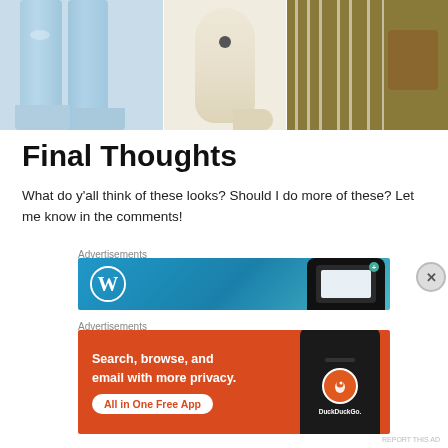[Figure (photo): Three fashion photos side by side: ripped light blue jeans, cream/beige sock with small emblem, and olive striped shirt]
Final Thoughts
What do y'all think of these looks? Should I do more of these? Let me know in the comments!
[Figure (other): WordPress advertisement banner with blue gradient background and phone mockup]
[Figure (other): DuckDuckGo advertisement: Search, browse, and email with more privacy. All in One Free App]